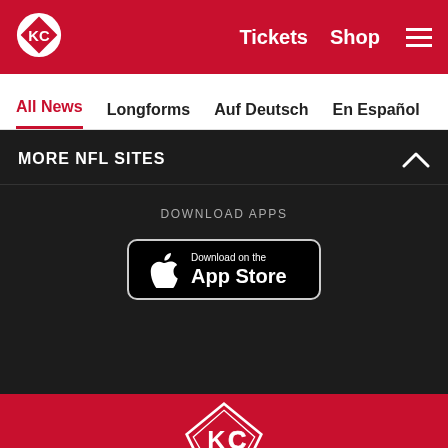Kansas City Chiefs - Tickets | Shop | Menu
All News | Longforms | Auf Deutsch | En Español
MORE NFL SITES
DOWNLOAD APPS
[Figure (screenshot): Download on the App Store button - black button with Apple logo]
[Figure (logo): Kansas City Chiefs arrowhead logo in red and white]
Social icons: Facebook, Twitter, Email, Link